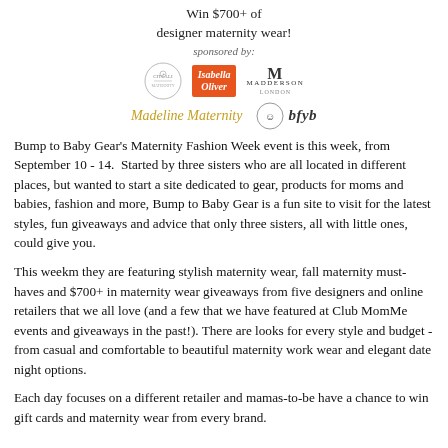[Figure (logo): Sponsor logos block: Win $700+ of designer maternity wear! sponsored by: Citlali (circle logo), Isabella Oliver (orange box logo), Madderson London (M logo), Madeline Maternity (script logo), bfyb (circle icon and italic text logo)]
Bump to Baby Gear's Maternity Fashion Week event is this week, from September 10 - 14.  Started by three sisters who are all located in different places, but wanted to start a site dedicated to gear, products for moms and babies, fashion and more, Bump to Baby Gear is a fun site to visit for the latest styles, fun giveaways and advice that only three sisters, all with little ones, could give you.
This weekm they are featuring stylish maternity wear, fall maternity must-haves and $700+ in maternity wear giveaways from five designers and online retailers that we all love (and a few that we have featured at Club MomMe events and giveaways in the past!). There are looks for every style and budget - from casual and comfortable to beautiful maternity work wear and elegant date night options.
Each day focuses on a different retailer and mamas-to-be have a chance to win gift cards and maternity wear from every brand.